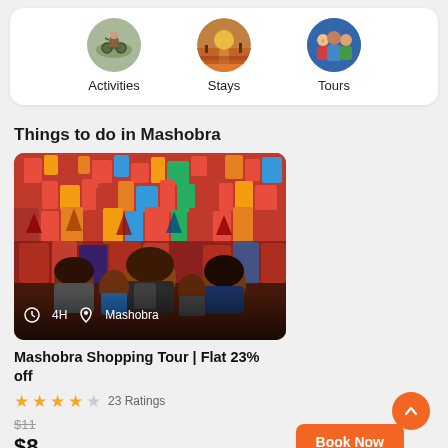[Figure (infographic): Navigation categories row: Activities (cycling photo), Stays (waterfront photo), Tours (group photo)]
Things to do in Mashobra
[Figure (photo): Colorful market/shopping scene in Mashobra with tourists browsing items, crowd visible, red and colorful merchandise hanging]
Mashobra Shopping Tour | Flat 23% off
23 Ratings
$11 (original price) / $8 (discounted price)